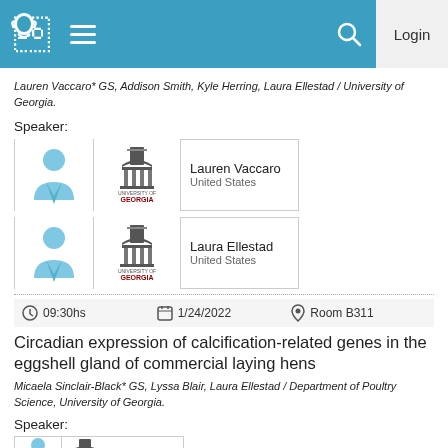Header navigation bar with logo, menu, search, and Login button
Lauren Vaccaro* GS, Addison Smith, Kyle Herring, Laura Ellestad / University of Georgia.
Speaker:
[Figure (other): Speaker card: Lauren Vaccaro, United States, University of Georgia logo and avatar]
[Figure (other): Speaker card: Laura Ellestad, United States, University of Georgia logo and avatar]
09:30hs  1/24/2022  Room B311
Circadian expression of calcification-related genes in the eggshell gland of commercial laying hens
Micaela Sinclair-Black* GS, Lyssa Blair, Laura Ellestad / Department of Poultry Science, University of Georgia.
Speaker:
[Figure (other): Partial speaker card at bottom of page]